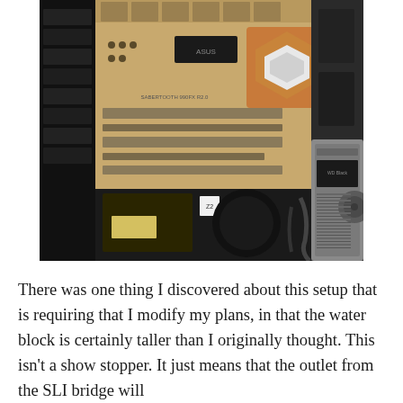[Figure (photo): Interior of a computer case showing an ASUS SABERTOOTH 990FX R2.0 motherboard with PCIe slots, CPU water block with hexagonal copper/silver cover, drive bays on the left, a hard drive (Western Digital) visible on the right, and cables/power supply components in the lower section.]
There was one thing I discovered about this setup that is requiring that I modify my plans, in that the water block is certainly taller than I originally thought. This isn't a show stopper. It just means that the outlet from the SLI bridge will